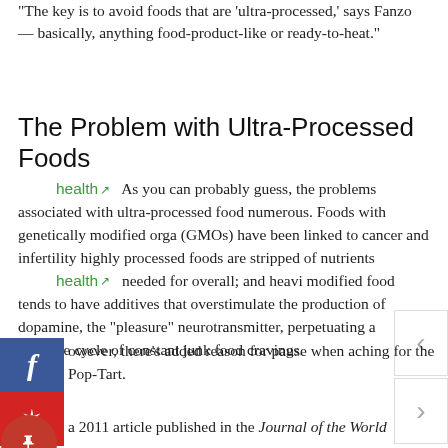“The key is to avoid foods that are ‘ultra-processed,’ says Fanzo — basically, anything food-product-like or ready-to-heat.”
The Problem with Ultra-Processed Foods
health ↗ As you can probably guess, the problems associated with ultra-processed food numerous. Foods with genetically modified orga (GMOs) have been linked to cancer and infertility highly processed foods are stripped of nutrients
health ↗ needed for overall; and heavi modified food tends to have additives that overstimulate the production of dopamine, the “pleasure” neurotransmitter, perpetuating a negative cycle of constant junk food cravings.
owever, there’s added reason for pause when aching for the Pop-Tart.
a 2011 article published in the Journal of the World